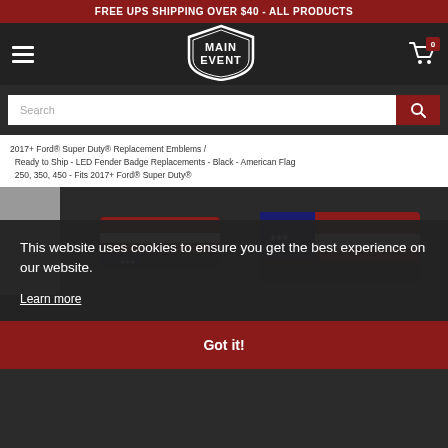FREE UPS SHIPPING OVER $40 - ALL PRODUCTS
[Figure (logo): Main Event shield logo with stylized text in white on dark background]
Search
2017+ Ford® Super Duty® Replacement Emblems / Ready to Ship - LED Fender Badge Replacements - Black - American Flag 250, 350, 450 - Fits 2017+ Ford® Super Duty®
This website uses cookies to ensure you get the best experience on our website.
Learn more
Got it!